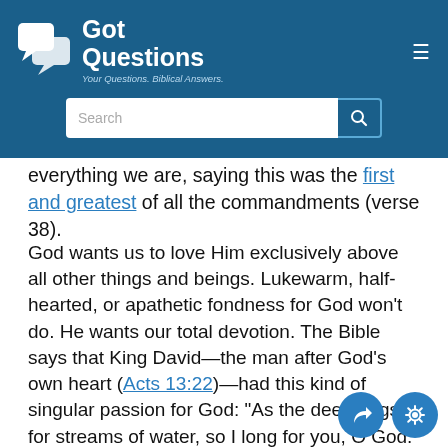Got Questions — Your Questions. Biblical Answers.
everything we are, saying this was the first and greatest of all the commandments (verse 38).
God wants us to love Him exclusively above all other things and beings. Lukewarm, half-hearted, or apathetic fondness for God won't do. He wants our total devotion. The Bible says that King David—the man after God's own heart (Acts 13:22)—had this kind of singular passion for God: "As the deer longs for streams of water, so I long for you, O God. I thirst for God, the living God. When can I go and stand before him?" (Psalm 42:1–2, NLT).